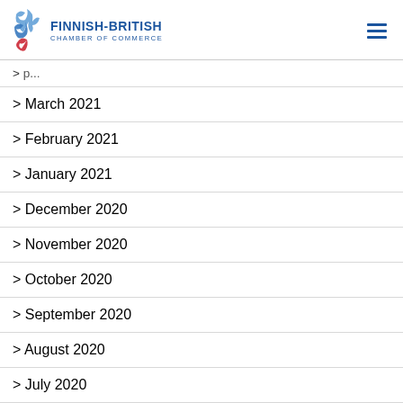Finnish-British Chamber of Commerce
March 2021
February 2021
January 2021
December 2020
November 2020
October 2020
September 2020
August 2020
July 2020
June 2020
May 2020